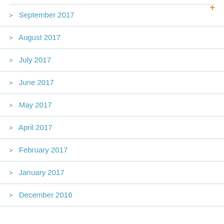> September 2017
> August 2017
> July 2017
> June 2017
> May 2017
> April 2017
> February 2017
> January 2017
> December 2016